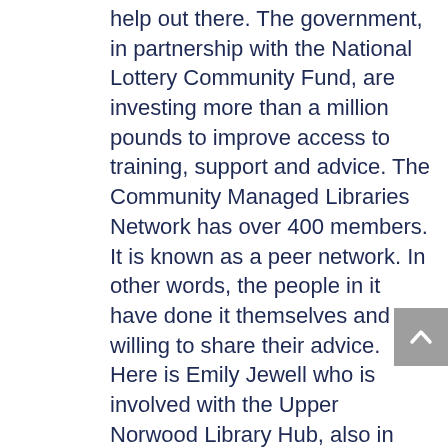help out there.  The government, in partnership with the National Lottery Community Fund, are investing more than a million pounds to improve access to training, support and advice.  The Community Managed Libraries Network has over 400 members. It is known as a peer network. In other words, the people in it have done it themselves and are willing to share their advice.  Here is Emily Jewell who is involved with the Upper Norwood Library Hub, also in London.
Emily Jewell (EJ): The Upper Norwood Library Trust took over the running of the Upper Norwood Library Hub in 2016.  Shortly afterwards, there was some funding from Power to Change to encourage peer networks, and we were lucky enough to be one of the…